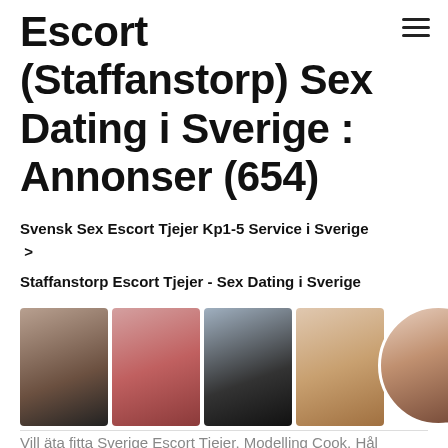Escort (Staffanstorp) Sex Dating i Sverige : Annonser (654)
Svensk Sex Escort Tjejer Kp1-5 Service i Sverige >
Staffanstorp Escort Tjejer - Sex Dating i Sverige
[Figure (photo): Row of escort profile photos: four rectangular images of women and one circular profile image on the right]
Vill äta fitta Sverige Escort Tjejer, Modelling Cook, Hål